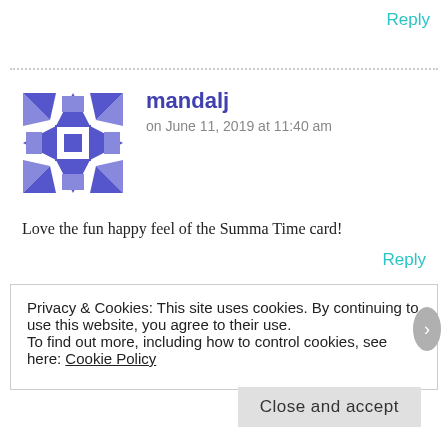Reply
[Figure (illustration): Geometric blue/purple avatar icon with snowflake/quilt pattern]
mandalj
on June 11, 2019 at 11:40 am
Love the fun happy feel of the Summa Time card!
Reply
Privacy & Cookies: This site uses cookies. By continuing to use this website, you agree to their use.
To find out more, including how to control cookies, see here: Cookie Policy
Close and accept